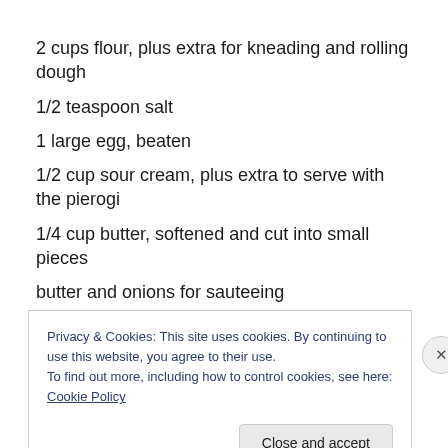2 cups flour, plus extra for kneading and rolling dough
1/2 teaspoon salt
1 large egg, beaten
1/2 cup sour cream, plus extra to serve with the pierogi
1/4 cup butter, softened and cut into small pieces
butter and onions for sauteeing
Filling
5-6 medium potatoes
Privacy & Cookies: This site uses cookies. By continuing to use this website, you agree to their use.
To find out more, including how to control cookies, see here: Cookie Policy